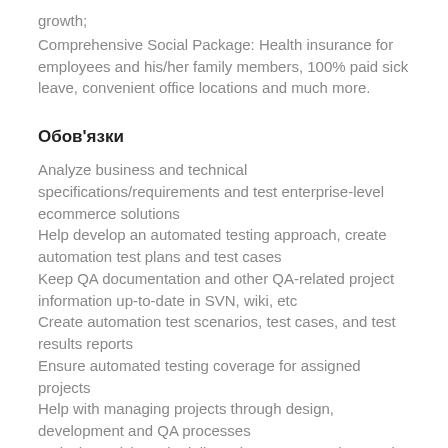growth;
Comprehensive Social Package: Health insurance for employees and his/her family members, 100% paid sick leave, convenient office locations and much more.
Обов'язки
Analyze business and technical specifications/requirements and test enterprise-level ecommerce solutions
Help develop an automated testing approach, create automation test plans and test cases
Keep QA documentation and other QA-related project information up-to-date in SVN, wiki, etc
Create automation test scenarios, test cases, and test results reports
Ensure automated testing coverage for assigned projects
Help with managing projects through design, development and QA processes
Actively participate in daily project team meetings and brainstorming activities related to the project issues
Provide updates to effort estimates and status of assigned tasks